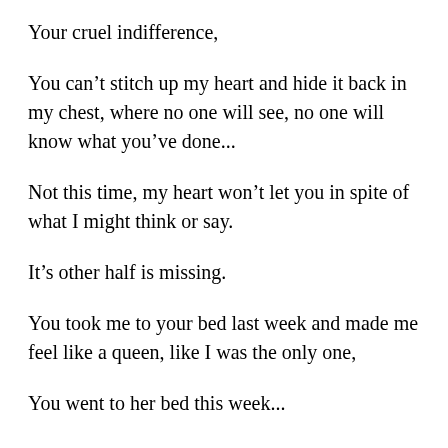Your cruel indifference,
You can't stitch up my heart and hide it back in my chest, where no one will see, no one will know what you've done...
Not this time, my heart won't let you in spite of what I might think or say.
It's other half is missing.
You took me to your bed last week and made me feel like a queen, like I was the only one,
You went to her bed this week...